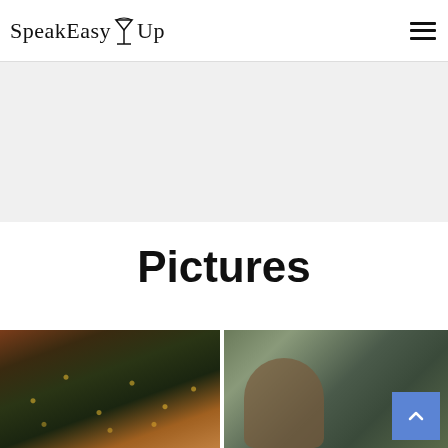SpeakEasy Up
Pictures
[Figure (photo): Outdoor structure decorated with string lights at dusk, surrounded by trees and a red building]
[Figure (photo): Person lying down photographed from above, appears to be inside a tent or similar structure with gray/green ceiling]